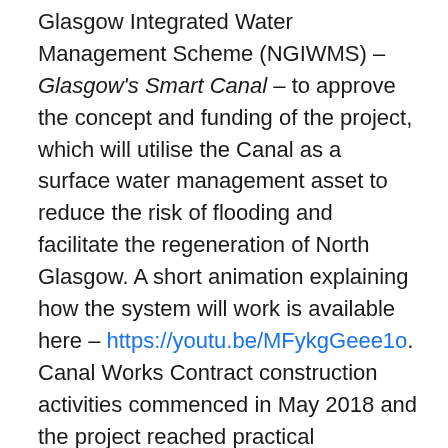Glasgow Integrated Water Management Scheme (NGIWMS) – Glasgow's Smart Canal – to approve the concept and funding of the project, which will utilise the Canal as a surface water management asset to reduce the risk of flooding and facilitate the regeneration of North Glasgow. A short animation explaining how the system will work is available here – https://youtu.be/MFykgGeee1o. Canal Works Contract construction activities commenced in May 2018 and the project reached practical completion in October 2019.
The NGIWMS project is a key element of the Canal & North Gateway masterplan which has secured SNH Green Infrastructure Funding in addition to City Deal funding noted above, to enhance green space along the canal corridor between Firhill and Port Dundas, including creation of a local nature reserve.